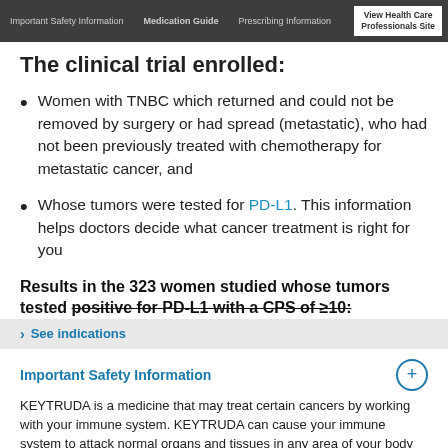Important Safety Information | Medication Guide | Prescribing Information | View Health Care Professionals Site
The clinical trial enrolled:
Women with TNBC which returned and could not be removed by surgery or had spread (metastatic), who had not been previously treated with chemotherapy for metastatic cancer, and
Whose tumors were tested for PD-L1. This information helps doctors decide what cancer treatment is right for you
Results in the 323 women studied whose tumors tested positive for PD-L1 with a CPS of ≥10:
> See indications
Important Safety Information
KEYTRUDA is a medicine that may treat certain cancers by working with your immune system. KEYTRUDA can cause your immune system to attack normal organs and tissues in any area of your body and can affect the way they work. These problems can sometimes